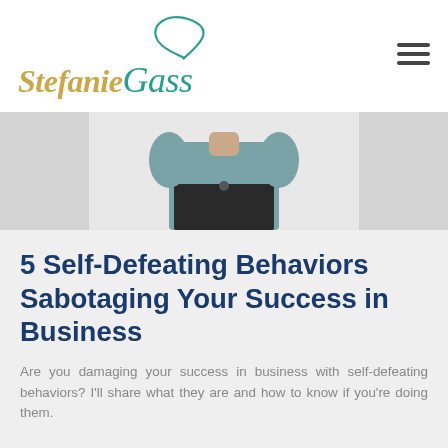Stefanie Gass
[Figure (photo): Partial photo of a woman in a teal/grey top and black pants against a light background, cropped at waist level]
5 Self-Defeating Behaviors Sabotaging Your Success in Business
Are you damaging your success in business with self-defeating behaviors? I'll share what they are and how to know if you're doing them.